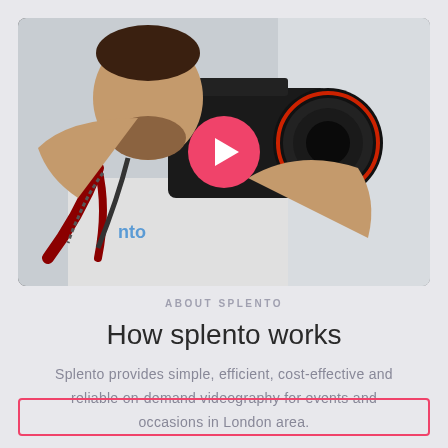[Figure (photo): A man holding a DSLR camera up to his face, wearing a white shirt with a lanyard and camera strap. A large pink/red circular play button overlay is centered on the image, indicating a video thumbnail.]
ABOUT SPLENTO
How splento works
Splento provides simple, efficient, cost-effective and reliable on-demand videography for events and occasions in London area.